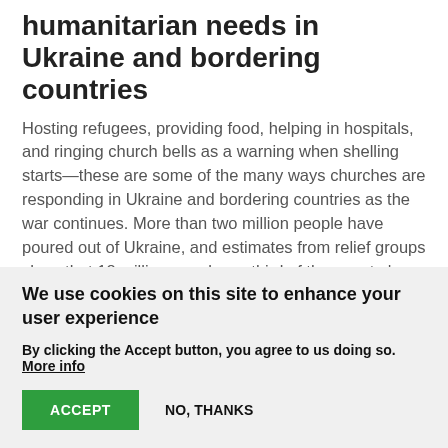humanitarian needs in Ukraine and bordering countries
Hosting refugees, providing food, helping in hospitals, and ringing church bells as a warning when shelling starts—these are some of the many ways churches are responding in Ukraine and bordering countries as the war continues. More than two million people have poured out of Ukraine, and estimates from relief groups show that 18 million people—a third of the country's population—will need humanitarian assistance.
11 March 2022
We use cookies on this site to enhance your user experience
By clicking the Accept button, you agree to us doing so. More info
ACCEPT   NO, THANKS